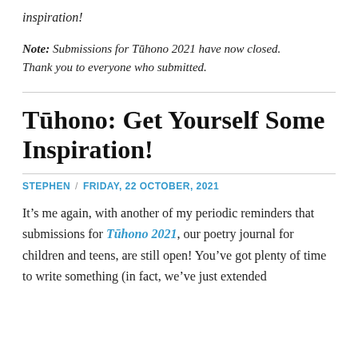inspiration!
Note: Submissions for Tūhono 2021 have now closed. Thank you to everyone who submitted.
Tūhono: Get Yourself Some Inspiration!
STEPHEN / FRIDAY, 22 OCTOBER, 2021
It's me again, with another of my periodic reminders that submissions for Tūhono 2021, our poetry journal for children and teens, are still open! You've got plenty of time to write something (in fact, we've just extended